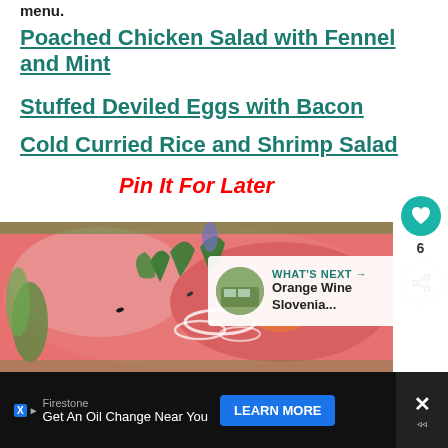menu.
Poached Chicken Salad with Fennel and Mint
Stuffed Deviled Eggs with Bacon
Cold Curried Rice and Shrimp Salad
Pin It For Later
[Figure (photo): Close-up photo of a food dish showing watermelon, herbs, and onion salad with green garnishes]
WHAT'S NEXT → Orange Wine Slovenia...
Firestone
Get An Oil Change Near You
LEARN MORE